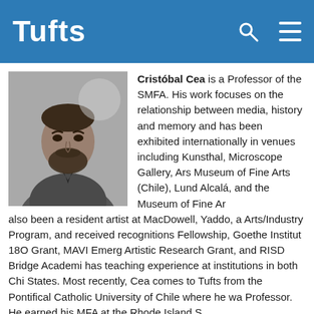Tufts
[Figure (photo): Black and white headshot of Cristóbal Cea, a bearded man wearing a jacket]
Cristóbal Cea is a Professor of the SMFA. His work focuses on the relationship between media, history and memory and has been exhibited internationally in venues including Kunsthal, Microscope Gallery, Ars Electronica, Museum of Fine Arts (Chile), Lund Konsthall, Alcalá, and the Museum of Fine Arts. He has also been a resident artist at MacDowell, Yaddo, and the Arts/Industry Program, and received recognitions including the Pollock-Krasner Fellowship, Goethe Institut 18O Grant, MAVI Emerging Artist Award, Artistic Research Grant, and RISD Bridge Academic Grant. He has teaching experience at institutions in both Chile and the United States. Most recently, Cea comes to Tufts from the Pontifical Catholic University of Chile where he was an Assistant Professor. He earned his MFA at the Rhode Island School of Design.